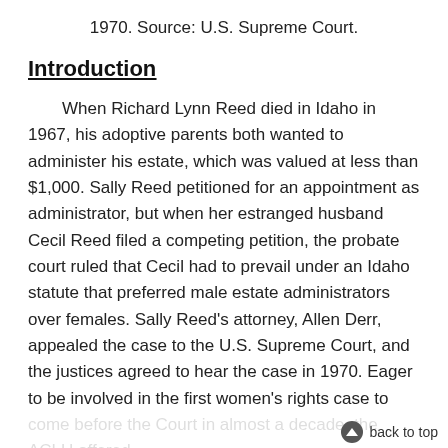1970. Source: U.S. Supreme Court.
Introduction
When Richard Lynn Reed died in Idaho in 1967, his adoptive parents both wanted to administer his estate, which was valued at less than $1,000. Sally Reed petitioned for an appointment as administrator, but when her estranged husband Cecil Reed filed a competing petition, the probate court ruled that Cecil had to prevail under an Idaho statute that preferred male estate administrators over females. Sally Reed's attorney, Allen Derr, appealed the case to the U.S. Supreme Court, and the justices agreed to hear the case in 1970. Eager to be involved in the first women's rights case to come before the Court in almost a decade, the ACLU offered its assistance.
back to top